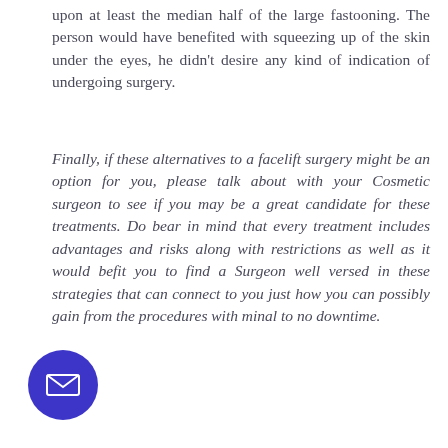upon at least the median half of the large fastooning. The person would have benefited with squeezing up of the skin under the eyes, he didn't desire any kind of indication of undergoing surgery.
Finally, if these alternatives to a facelift surgery might be an option for you, please talk about with your Cosmetic surgeon to see if you may be a great candidate for these treatments. Do bear in mind that every treatment includes advantages and risks along with restrictions as well as it would befit you to find a Surgeon well versed in these strategies that can connect to you just how you can possibly gain from the procedures with minal to no downtime.